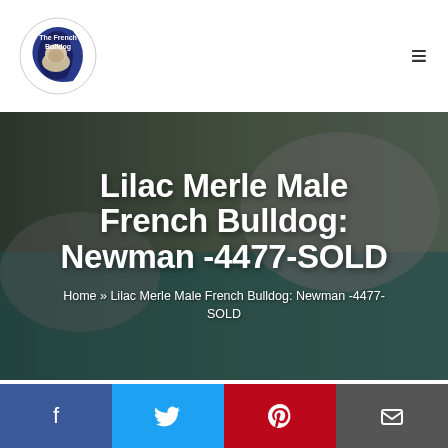[Figure (logo): The French Bulldog circular logo with crescent moon and bulldog illustration]
Lilac Merle Male French Bulldog: Newman -4477-SOLD
Home » Lilac Merle Male French Bulldog: Newman -4477-SOLD
March 18, 2021 by The French Bulldog
Hi I'm Newman a lilac merle male French Bulldog. Just